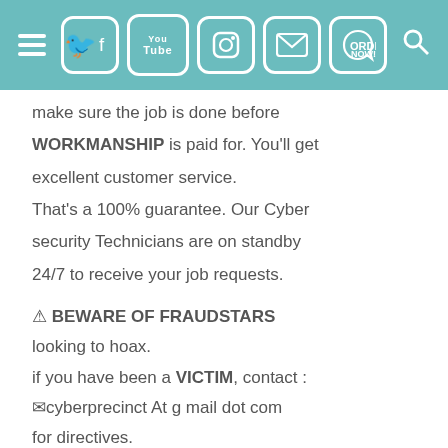Navigation header with hamburger menu, social media icons (Facebook, YouTube, Instagram, Email, Order Now), and search icon
make sure the job is done before WORKMANSHIP is paid for. You'll get excellent customer service. That's a 100% guarantee. Our Cyber security Technicians are on standby 24/7 to receive your job requests.
⚠ BEWARE OF FRAUDSTARS looking to hoax. if you have been a VICTIM, contact : ✉cyberprecinct At g mail dot com for directives. Here, it's always a win for you.
〖OUR SERVICES〗
➡Binary Option funds recovery
➡Social media hack